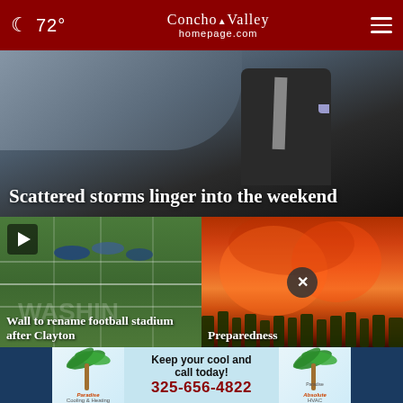72° Concho Valley homepage.com
[Figure (photo): Weather news hero image showing a male meteorologist in a suit with storm clouds in the background]
Scattered storms linger into the weekend
[Figure (photo): Football field video thumbnail with play button overlay]
Wall to rename football stadium after Clayton
[Figure (photo): Wildfire image with orange and red flames and smoke engulfing trees, with a close button overlay]
Preparedness
[Figure (photo): Advertisement banner for Absolute Paradise Cooling & Heating with phone number 325-656-4822]